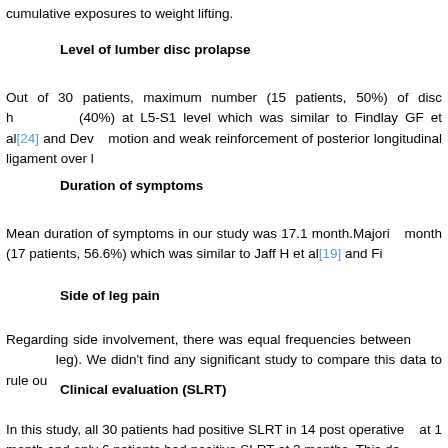cumulative exposures to weight lifting.
Level of lumber disc prolapse
Out of 30 patients, maximum number (15 patients, 50%) of disc herniations occurred at L4-L5 level and (40%) at L5-S1 level which was similar to Findlay GF et al[24] and Dev... motion and weak reinforcement of posterior longitudinal ligament over l...
Duration of symptoms
Mean duration of symptoms in our study was 17.1 month.Majority had symptoms less than 24 month (17 patients, 56.6%) which was similar to Jaff H et al[19] and Fi...
Side of leg pain
Regarding side involvement, there was equal frequencies between right and left leg). We didn't find any significant study to compare this data to rule ou...
Clinical evaluation (SLRT)
In this study, all 30 patients had positive SLRT in 14 post operative... at 1 month and only 6 patients had positive SLRT at 3 months. This da...